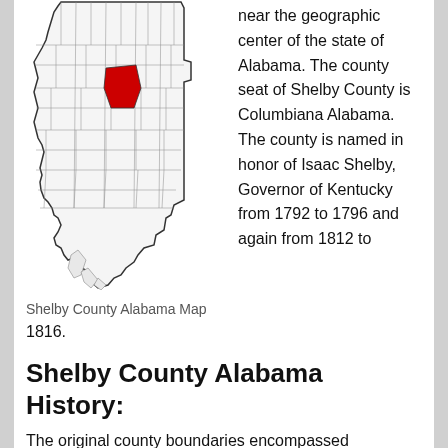[Figure (map): Map of Alabama showing county boundaries with Shelby County highlighted in red near the geographic center of the state.]
near the geographic center of the state of Alabama. The county seat of Shelby County is Columbiana Alabama. The county is named in honor of Isaac Shelby, Governor of Kentucky from 1792 to 1796 and again from 1812 to
Shelby County Alabama Map
1816.
Shelby County Alabama History:
The original county boundaries encompassed